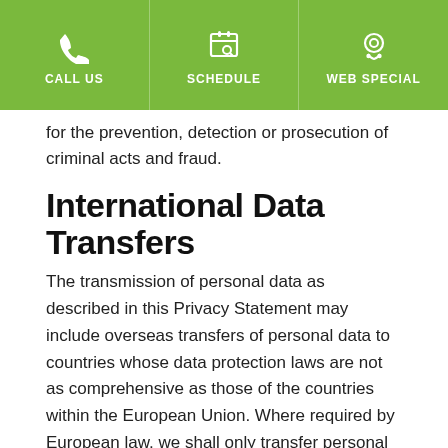CALL US | SCHEDULE | WEB SPECIAL
for the prevention, detection or prosecution of criminal acts and fraud.
International Data Transfers
The transmission of personal data as described in this Privacy Statement may include overseas transfers of personal data to countries whose data protection laws are not as comprehensive as those of the countries within the European Union. Where required by European law, we shall only transfer personal data to recipients offering an adequate level of data protection. In these situations, we make contractual arrangements to ensure that your personal data is still protected in line with European standards. You can ask us to see a copy of these clauses using the contact details below.